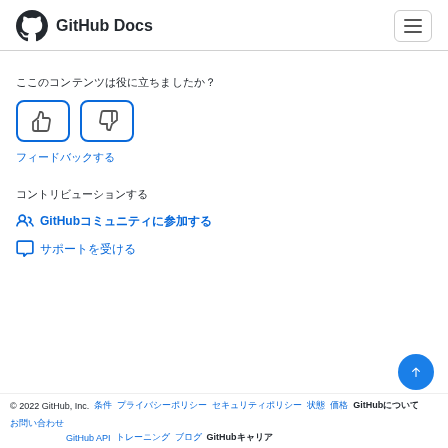GitHub Docs
ここのコンテンツは役に立ちましたか？
[Figure (illustration): Thumbs up and thumbs down feedback buttons with blue rounded borders]
フィードバックする
コントリビューションする
GitHub コミュニティに参加する
サポートを受ける
© 2022 GitHub, Inc. 条件 プライバシーポリシー セキュリティポリシー 状態 価格 GitHubについて お問い合わせ GitHub API トレーニング ブログ GitHubキャリア